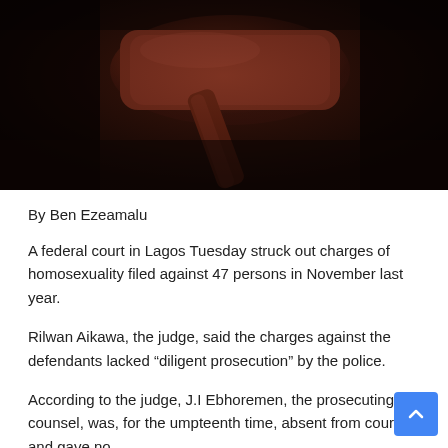[Figure (photo): Close-up photo of a wooden gavel on a dark background, reddish-brown tones]
By Ben Ezeamalu
A federal court in Lagos Tuesday struck out charges of homosexuality filed against 47 persons in November last year.
Rilwan Aikawa, the judge, said the charges against the defendants lacked “diligent prosecution” by the police.
According to the judge, J.I Ebhoremen, the prosecuting counsel, was, for the umpteenth time, absent from court and gave no